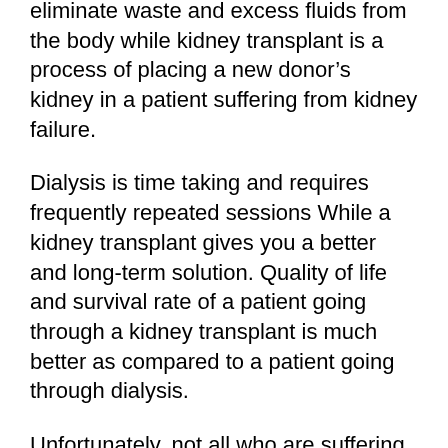eliminate waste and excess fluids from the body while kidney transplant is a process of placing a new donor’s kidney in a patient suffering from kidney failure.
Dialysis is time taking and requires frequently repeated sessions While a kidney transplant gives you a better and long-term solution. Quality of life and survival rate of a patient going through a kidney transplant is much better as compared to a patient going through dialysis.
Unfortunately, not all who are suffering from kidney failure can have a kidney transplant. The patient should be capable of taking the treatment and bear the post-treatment experiences too.